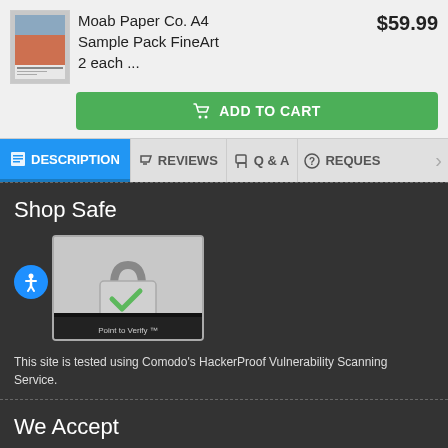Moab Paper Co. A4 Sample Pack FineArt 2 each ...
$59.99
ADD TO CART
DESCRIPTION
REVIEWS
Q & A
REQUES
Shop Safe
[Figure (logo): Comodo Secured badge with padlock icon and 'Point to Verify' text]
This site is tested using Comodo's HackerProof Vulnerability Scanning Service.
We Accept
[Figure (infographic): Payment method logos: Visa, PayPal, MasterCard, Amex]